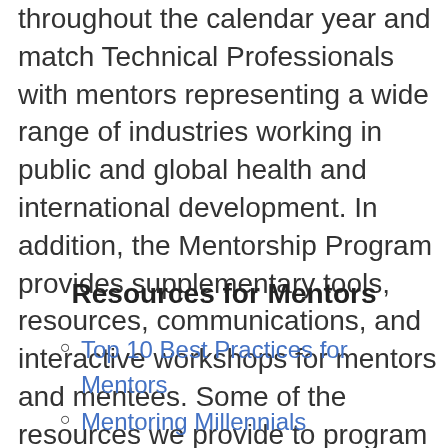throughout the calendar year and match Technical Professionals with mentors representing a wide range of industries working in public and global health and international development. In addition, the Mentorship Program provides supplementary tools, resources, communications, and interactive workshops for mentors and mentees. Some of the resources we provide to program participants include:
Resources for Mentors
Top 10 Best Practices for Mentors
Mentoring Millennials
The Best Mentors Ask These 8